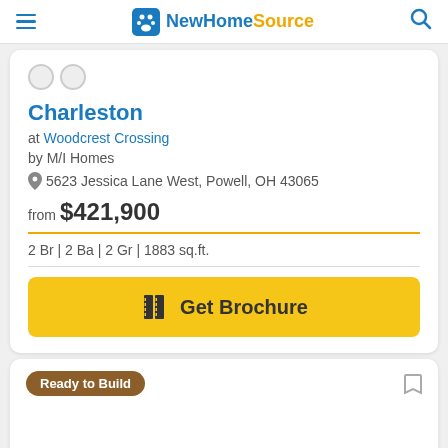NewHomeSource
Charleston
at Woodcrest Crossing
by M/I Homes
5623 Jessica Lane West, Powell, OH 43065
from $421,900
2 Br | 2 Ba | 2 Gr | 1883 sq.ft.
Get Brochure
Ready to Build